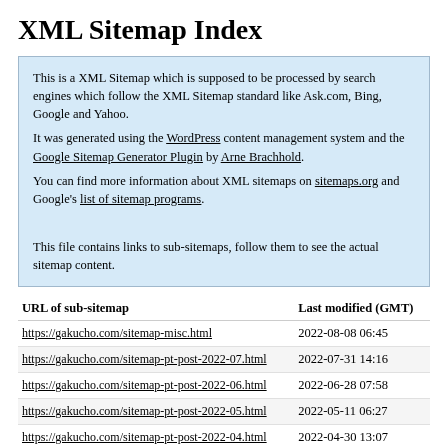XML Sitemap Index
This is a XML Sitemap which is supposed to be processed by search engines which follow the XML Sitemap standard like Ask.com, Bing, Google and Yahoo.
It was generated using the WordPress content management system and the Google Sitemap Generator Plugin by Arne Brachhold.
You can find more information about XML sitemaps on sitemaps.org and Google's list of sitemap programs.

This file contains links to sub-sitemaps, follow them to see the actual sitemap content.
| URL of sub-sitemap | Last modified (GMT) |
| --- | --- |
| https://gakucho.com/sitemap-misc.html | 2022-08-08 06:45 |
| https://gakucho.com/sitemap-pt-post-2022-07.html | 2022-07-31 14:16 |
| https://gakucho.com/sitemap-pt-post-2022-06.html | 2022-06-28 07:58 |
| https://gakucho.com/sitemap-pt-post-2022-05.html | 2022-05-11 06:27 |
| https://gakucho.com/sitemap-pt-post-2022-04.html | 2022-04-30 13:07 |
| https://gakucho.com/sitemap-pt-post-2022-03.html | 2022-03-15 02:36 |